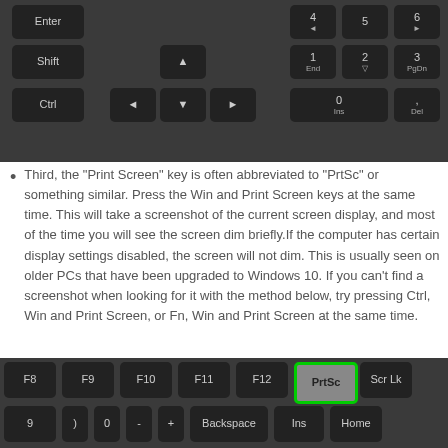[Figure (screenshot): Keyboard numpad section showing keys: Enter, Shift, Ctrl, arrow keys, and numpad keys (4, 5, 6, 1 End, 2 down, 3 PgDn, 0 Ins, Del)]
Third, the "Print Screen" key is often abbreviated to "PrtSc" or something similar. Press the Win and Print Screen keys at the same time. This will take a screenshot of the current screen display, and most of the time you will see the screen dim briefly.If the computer has certain display settings disabled, the screen will not dim. This is usually seen on older PCs that have been upgraded to Windows 10. If you can't find a screenshot when looking for it with the method below, try pressing Ctrl, Win and Print Screen, or Fn, Win and Print Screen at the same time.
[Figure (screenshot): Keyboard function key row showing F8, F9, F10, F11, F12, PrtSc (highlighted with green border), Scr Lk, and partial second row with keys 9, 0, -, +, Backspace, Ins, Home]